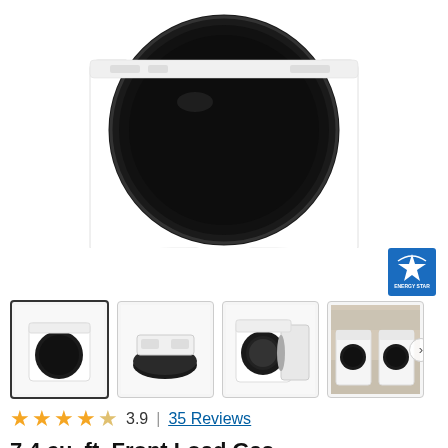[Figure (photo): White front-load gas dryer product photo, top/front view showing the circular black drum door opening, white body. Image cropped to upper portion.]
[Figure (logo): ENERGY STAR certification badge — blue square badge with white energy star logo and 'ENERGY STAR' text below.]
[Figure (photo): Row of four product thumbnail images: (1) full front view of white dryer with black door (selected, highlighted border); (2) top-down view of dryer showing control panel arc; (3) front view with door open showing drum interior; (4) lifestyle photo of matching washer and dryer set in a laundry room. Arrow navigation button on right.]
3.9  |  35 Reviews
7.4 cu. ft. Front Load Gas Dryer with Steam Cycles -